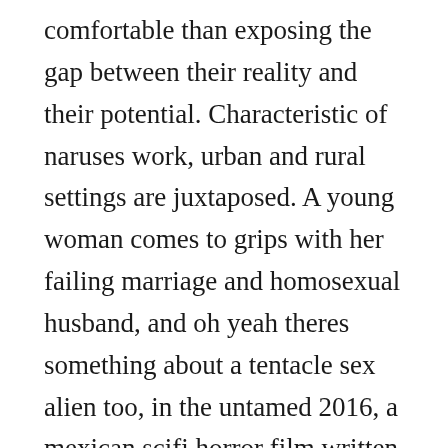comfortable than exposing the gap between their reality and their potential. Characteristic of naruses work, urban and rural settings are juxtaposed. A young woman comes to grips with her failing marriage and homosexual husband, and oh yeah theres something about a tentacle sex alien too, in the untamed 2016, a mexican scifi horror film written and directed by amat escalante. Here, you will get a sense of the vision i hold for all women who desire to break free from the norm, and wish to walk to the beat of their own drum. With